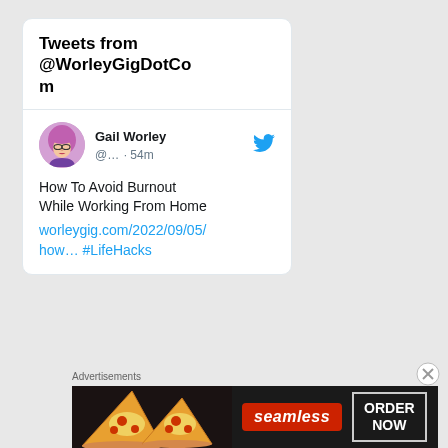Tweets from @WorleyGigDotCom
[Figure (screenshot): Tweet from Gail Worley (@...) posted 54 minutes ago. Text: How To Avoid Burnout While Working From Home worleygig.com/2022/09/05/how... #LifeHacks. Twitter bird icon shown next to username.]
Advertisements
[Figure (photo): Seamless food delivery advertisement banner. Shows pizza slices on the left, Seamless logo in red in the center, and ORDER NOW button on the right, on a dark background.]